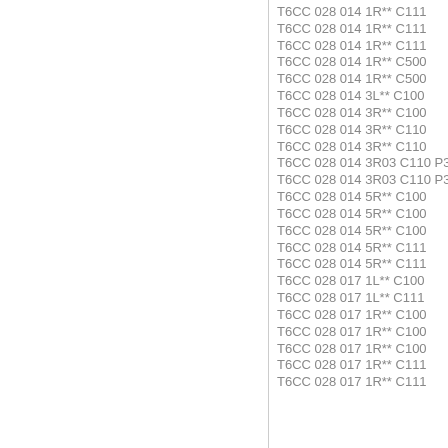T6CC  028 014 1R** C111
T6CC  028 014 1R** C111
T6CC  028 014 1R** C111
T6CC  028 014 1R** C500
T6CC  028 014 1R** C500
T6CC  028 014 3L** C100
T6CC  028 014 3R** C100
T6CC  028 014 3R** C110
T6CC  028 014 3R** C110
T6CC  028 014 3R03 C110 P33A
T6CC  028 014 3R03 C110 P33A
T6CC  028 014 5R** C100
T6CC  028 014 5R** C100
T6CC  028 014 5R** C100
T6CC  028 014 5R** C111
T6CC  028 014 5R** C111
T6CC  028 017 1L** C100
T6CC  028 017 1L** C111
T6CC  028 017 1R** C100
T6CC  028 017 1R** C100
T6CC  028 017 1R** C100
T6CC  028 017 1R** C111
T6CC  028 017 1R** C111